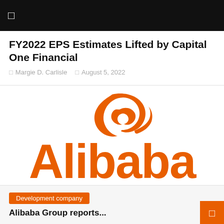□
FY2022 EPS Estimates Lifted by Capital One Financial
□ Margie D. Carlisle   □ August 5, 2022
[Figure (logo): Alibaba company logo — orange stylized '2' icon above bold orange 'Alibaba' wordmark on white background]
Development company
Alibaba Group reports...